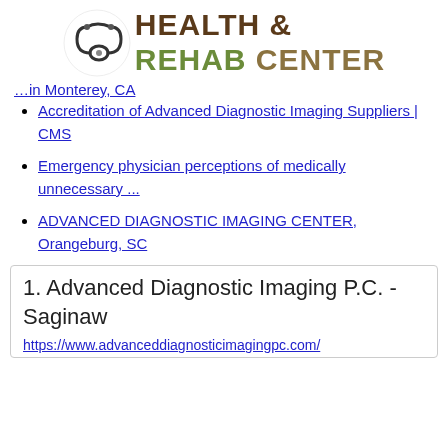[Figure (logo): Health & Rehab Center logo with stethoscope icon and text]
…in Monterey, CA
Accreditation of Advanced Diagnostic Imaging Suppliers | CMS
Emergency physician perceptions of medically unnecessary ...
ADVANCED DIAGNOSTIC IMAGING CENTER, Orangeburg, SC
1. Advanced Diagnostic Imaging P.C. - Saginaw
https://www.advanceddiagnosticimagingpc.com/